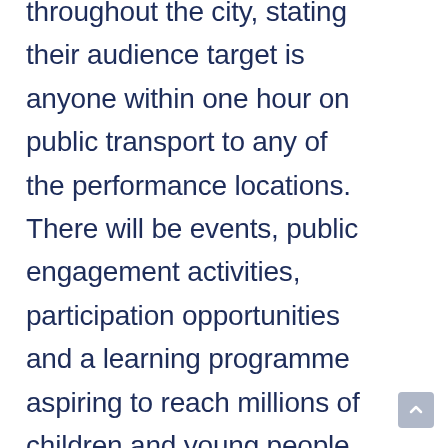throughout the city, stating their audience target is anyone within one hour on public transport to any of the performance locations. There will be events, public engagement activities, participation opportunities and a learning programme aspiring to reach millions of children and young people, demonstrating the importance of creativity in people's lives and our collective future. Events timings and locations will also be announced although those timings and locations are not likely to mirror traditional festival start, do, and end dates.